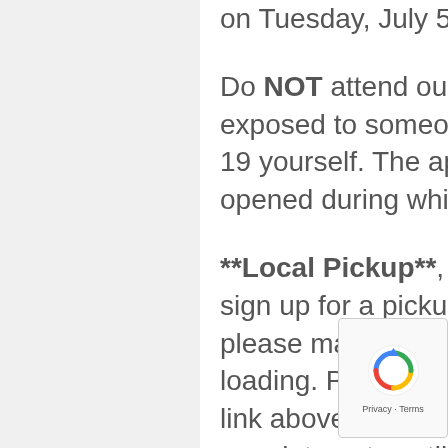on Tuesday, July 5th, 2022, 10am to 7pm
Do NOT attend our pickup if you have a fever, been exposed to someone with COVID-19 or had COVID-19 yourself. The appointment calendar will be opened during while the auction is closing.
**Local Pickup**, for local pickup you will need to sign up for a pickup appointment. For large items please make sure to bring help to assist with loading. Pickup appointments can be made at the link above; however, we do not open the appointments until 30
[Figure (other): reCAPTCHA badge with spinning arrows logo and Privacy - Terms text]